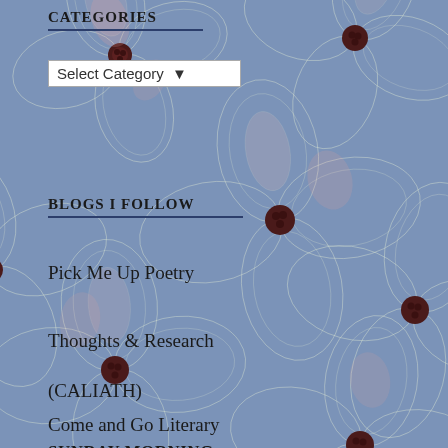CATEGORIES
Select Category
BLOGS I FOLLOW
Pick Me Up Poetry
Thoughts & Research
(CALIATH)
Come and Go Literary
SUNDAY MORNING